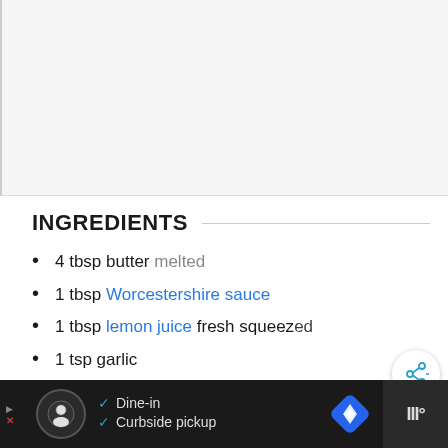[Figure (photo): Gray/white image area at top of page (image placeholder or advertisement space)]
INGREDIENTS
4 tbsp butter melted
1 tbsp Worcestershire sauce
1 tbsp lemon juice fresh squeezed
1 tsp garlic
½ tsp onion powder
[Figure (other): Share button icon (circle with share symbol)]
[Figure (other): What's Next panel showing Weight Watchers thumbnail and text]
[Figure (other): Advertisement bar at bottom with Dine-in and Curbside pickup options]